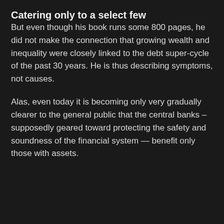Catering only to a select few
But even though his book runs some 800 pages, he did not make the connection that growing wealth and inequality were closely linked to the debt super-cycle of the past 30 years. He is thus describing symptoms, not causes.
Alas, even today it is becoming only very gradually clearer to the general public that the central banks – supposedly geared toward protecting the safety and soundness of the financial system — benefit only those with assets.